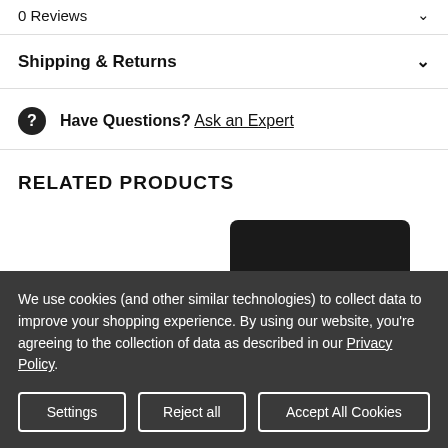0 Reviews
Shipping & Returns
Have Questions? Ask an Expert
RELATED PRODUCTS
[Figure (photo): Dark colored product (appears to be an electronic device) partially visible]
We use cookies (and other similar technologies) to collect data to improve your shopping experience. By using our website, you're agreeing to the collection of data as described in our Privacy Policy.
Settings | Reject all | Accept All Cookies